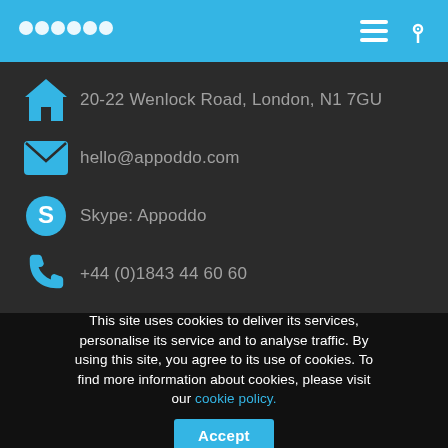appoddo
20-22 Wenlock Road, London, N1 7GU
hello@appoddo.com
Skype: Appoddo
+44 (0)1843 44 60 60
Socialise
This site uses cookies to deliver its services, personalise its service and to analyse traffic. By using this site, you agree to its use of cookies. To find more information about cookies, please visit our cookie policy.